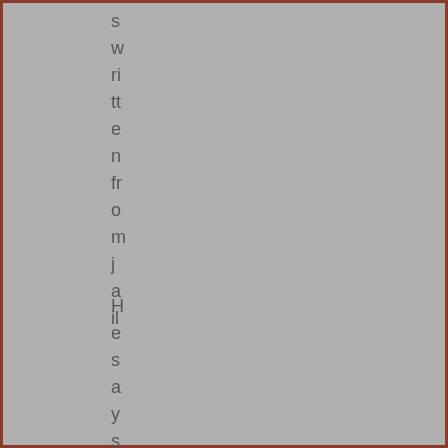s
w
ri
tt
e
n
fr
o
m
j
a
il
H
e
s
a
y
s
t
h
e